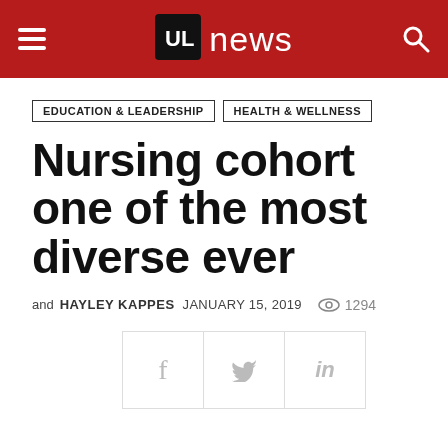UL news
EDUCATION & LEADERSHIP   HEALTH & WELLNESS
Nursing cohort one of the most diverse ever
and HAYLEY KAPPES  JANUARY 15, 2019  1294
[Figure (other): Social share buttons for Facebook, Twitter, and LinkedIn]